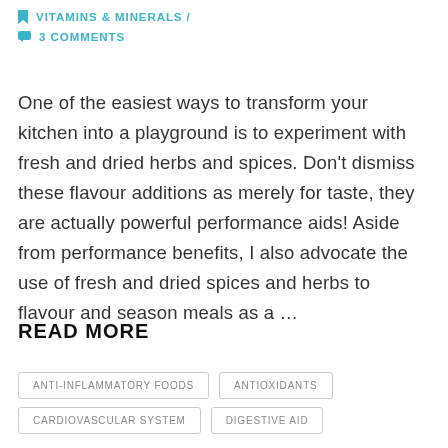VITAMINS & MINERALS / 3 COMMENTS
One of the easiest ways to transform your kitchen into a playground is to experiment with fresh and dried herbs and spices. Don’t dismiss these flavour additions as merely for taste, they are actually powerful performance aids! Aside from performance benefits, I also advocate the use of fresh and dried spices and herbs to flavour and season meals as a …
READ MORE
ANTI-INFLAMMATORY FOODS
ANTIOXIDANTS
CARDIOVASCULAR SYSTEM
DIGESTIVE AID